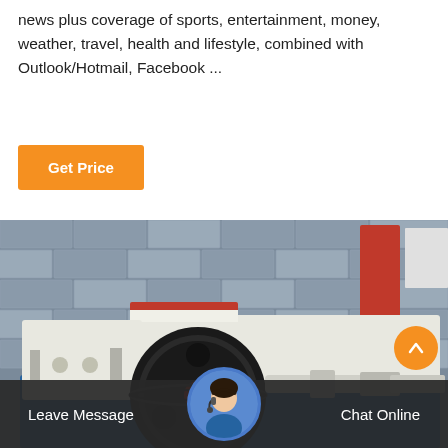news plus coverage of sports, entertainment, money, weather, travel, health and lifestyle, combined with Outlook/Hotmail, Facebook ...
Get Price
[Figure (photo): Industrial jaw crusher machine, cream/white colored body with large black flywheel and red accent, mounted on blue base, photographed against grey brick wall background.]
Leave Message
Chat Online